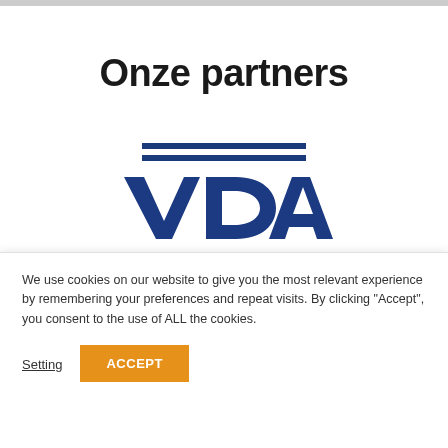Onze partners
[Figure (logo): VDAB logo — two horizontal dark blue lines above large bold dark blue letters VDAB]
We use cookies on our website to give you the most relevant experience by remembering your preferences and repeat visits. By clicking "Accept", you consent to the use of ALL the cookies.
Setting  ACCEPT